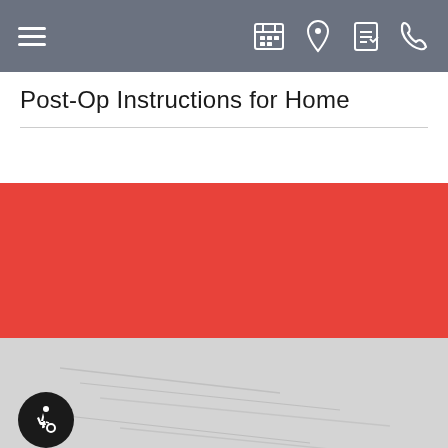Navigation bar with hamburger menu, calendar, location, document, and phone icons
Post-Op Instructions for Home
[Figure (other): Red banner section filling the middle of the page]
[Figure (photo): Gray textured background section in the lower portion of the page, with an accessibility (wheelchair) icon button on the lower left and a red 'We are online!' chat bar at the bottom right]